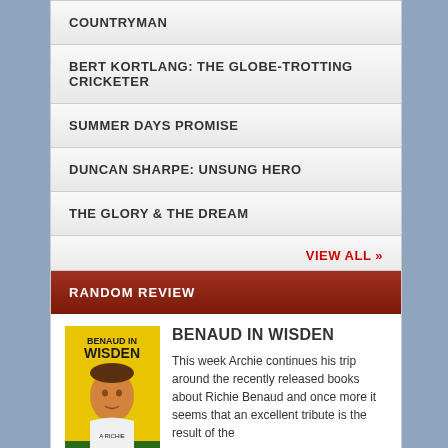COUNTRYMAN
BERT KORTLANG: THE GLOBE-TROTTING CRICKETER
SUMMER DAYS PROMISE
DUNCAN SHARPE: UNSUNG HERO
THE GLORY & THE DREAM
VIEW ALL »
RANDOM REVIEW
BENAUD IN WISDEN
This week Archie continues his trip around the recently released books about Richie Benaud and once more it seems that an excellent tribute is the result of the